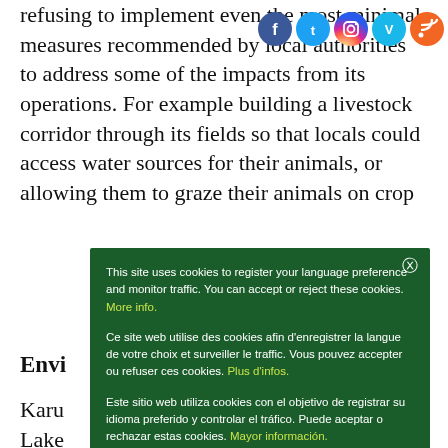refusing to implement even the most minimal measures recommended by local authorities to address some of the impacts from its operations. For example building a livestock corridor through its fields so that locals could access water sources for their animals, or allowing them to graze their animals on crop
[Figure (other): Social media icons: Facebook, Twitter, Instagram, Vimeo, RSS]
Envi
Karu Lake large for c the b and Karu Muu of Forum Syd, in February 2013 said that the
This site uses cookies to register your language preference and monitor traffic. You can accept or reject these cookies. More info.
Ce site web utilise des cookies afin d'enregistrer la langue de votre choix et surveiller le traffic. Vous pouvez accepter ou refuser ces cookies. Plus d'infos.
Este sitio web utiliza cookies con el objetivo de registrar su idioma preferido y controlar el tráfico. Puede aceptar o rechazar estas cookies. Mayor información.